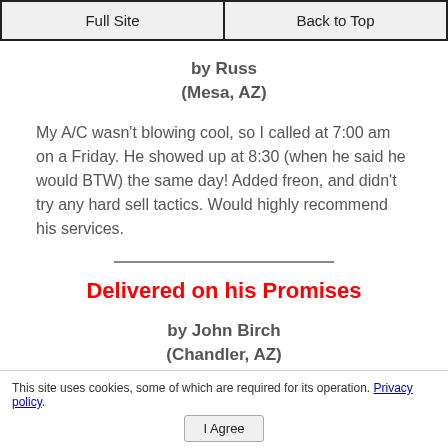Full Site | Back to Top
by Russ
(Mesa, AZ)
My A/C wasn't blowing cool, so I called at 7:00 am on a Friday. He showed up at 8:30 (when he said he would BTW) the same day! Added freon, and didn't try any hard sell tactics. Would highly recommend his services.
Delivered on his Promises
by John Birch
(Chandler, AZ)
This site uses cookies, some of which are required for its operation. Privacy policy.
I Agree